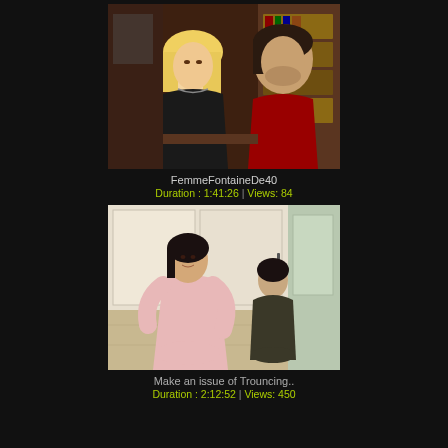[Figure (photo): Video thumbnail showing two people in what appears to be a library or study setting - a blonde woman in black clothing and a man with dark hair]
FemmeFontaineDe40
Duration : 1:41:26 | Views: 84
[Figure (photo): Video thumbnail showing two people in a Japanese-style room - a woman in pink clothing seated and a younger person kneeling in the background]
Make an issue of Trouncing..
Duration : 2:12:52 | Views: 450